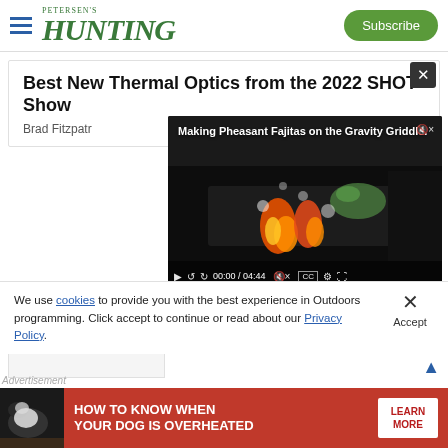PETERSEN'S HUNTING — Subscribe
Best New Thermal Optics from the 2022 SHOT Show
Brad Fitzpatr
[Figure (screenshot): Embedded video player showing 'Making Pheasant Fajitas on the Gravity Griddle.' with food cooking on a griddle with flames, video controls showing 00:00 / 04:44]
We use cookies to provide you with the best experience in Outdoors programming. Click accept to continue or read about our Privacy Policy.
Advertisement
[Figure (photo): Advertisement banner: 'HOW TO KNOW WHEN YOUR DOG IS OVERHEATED' with LEARN MORE button, showing a dog image on dark background]